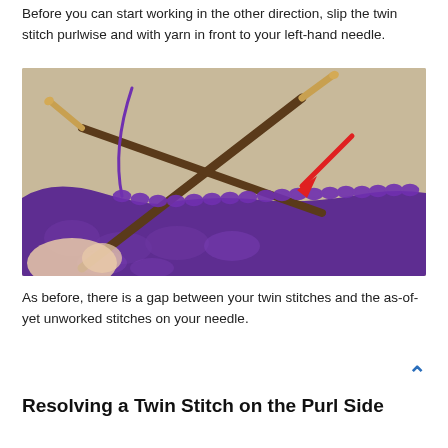Before you can start working in the other direction, slip the twin stitch purlwise and with yarn in front to your left-hand needle.
[Figure (photo): Close-up photo of hands holding knitting needles with purple yarn. A red arrow points to the twin stitch on the needle. The stitches are on a dark wooden needle against a beige background.]
As before, there is a gap between your twin stitches and the as-of-yet unworked stitches on your needle.
Resolving a Twin Stitch on the Purl Side